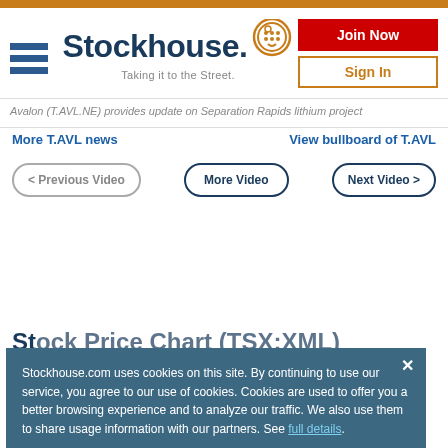Stockhouse - Taking it to the Street.
Avalon (T.AVL.NE) provides update on Separation Rapids lithium project
More T.AVL news
View bullboard of T.AVL
< Previous Video
More Video
Next Video >
Stock Price Chart (TSX:XMU)
Stockhouse.com uses cookies on this site. By continuing to use our service, you agree to our use of cookies. Cookies are used to offer you a better browsing experience and to analyze our traffic. We also use them to share usage information with our partners. See full details.